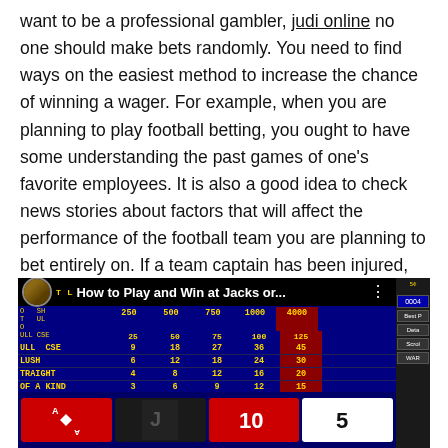want to be a professional gambler, judi online no one should make bets randomly. You need to find ways on the easiest method to increase the chance of winning a wager. For example, when you are planning to play football betting, you ought to have some understanding the past games of one's favorite employees. It is also a good idea to check news stories about factors that will affect the performance of the football team you are planning to bet entirely on. If a team captain has been injured, always be naturally customize the overall morale and performance of the team.
[Figure (screenshot): Screenshot of a YouTube video thumbnail showing a video game (video poker - Jacks or Better) with title 'How to Play and Win at Jacks or...' overlaid on a video poker pay table interface with colored columns (250, 500, 750, 1000, 4000) and rows for different hands (FULL HOUSE, FLUSH, STRAIGHT, OF A KIND, TWO PAIR, JACKS OR BETTER). Bottom portion shows card game elements.]